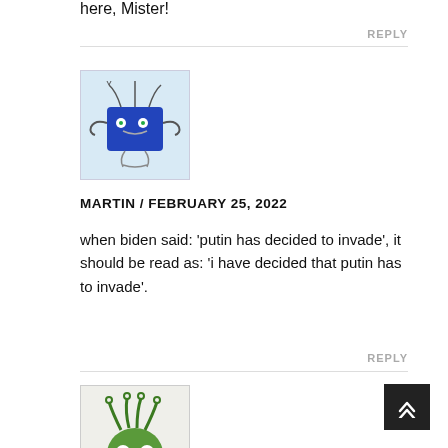here, Mister!
REPLY
[Figure (illustration): Cartoon avatar of a blue square robot-like character with squiggly arms and antenna, on light blue background]
MARTIN / FEBRUARY 25, 2022
when biden said: ‘putin has decided to invade’, it should be read as: ‘i have decided that putin has to invade’.
REPLY
[Figure (illustration): Cartoon avatar of a green round character with wild green hair, spiral eyes, red lips, and squiggly arms on light beige background]